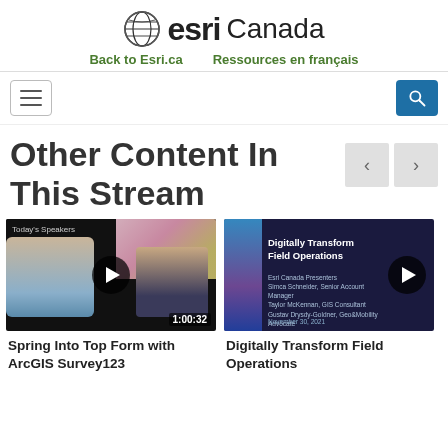[Figure (logo): Esri Canada logo with globe icon, bold esri text and Canada text]
Back to Esri.ca    Ressources en français
[Figure (screenshot): Navigation bar with hamburger menu on left and search button on right]
Other Content In This Stream
[Figure (screenshot): Video thumbnail for Spring Into Top Form with ArcGIS Survey123, showing two speakers and cherry blossoms, duration 1:00:32]
Spring Into Top Form with ArcGIS Survey123
[Figure (screenshot): Video thumbnail for Digitally Transform Field Operations, dark blue background with Esri Canada branding]
Digitally Transform Field Operations